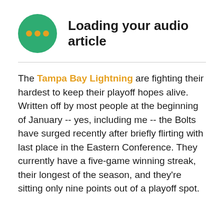[Figure (illustration): Green circle with three orange dots arranged horizontally, representing an audio loading indicator]
Loading your audio article
The Tampa Bay Lightning are fighting their hardest to keep their playoff hopes alive. Written off by most people at the beginning of January -- yes, including me -- the Bolts have surged recently after briefly flirting with last place in the Eastern Conference. They currently have a five-game winning streak, their longest of the season, and they're sitting only nine points out of a playoff spot.